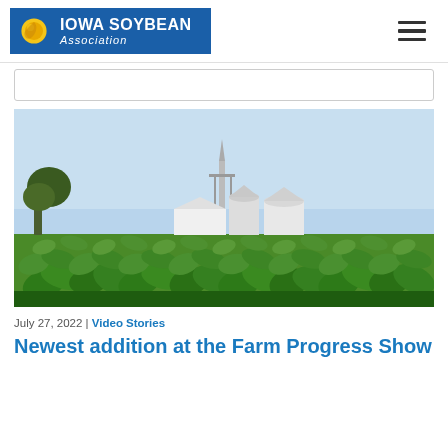Iowa Soybean Association
[Figure (photo): Photograph of a soybean field in foreground with grain silos and farm buildings in background under a clear blue sky]
July 27, 2022 | Video Stories
Newest addition at the Farm Progress Show